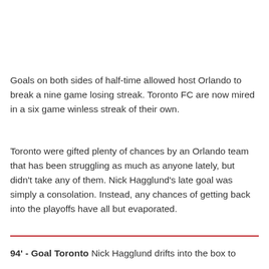Goals on both sides of half-time allowed host Orlando to break a nine game losing streak. Toronto FC are now mired in a six game winless streak of their own.
Toronto were gifted plenty of chances by an Orlando team that has been struggling as much as anyone lately, but didn't take any of them. Nick Hagglund's late goal was simply a consolation. Instead, any chances of getting back into the playoffs have all but evaporated.
94' - Goal Toronto Nick Hagglund drifts into the box to